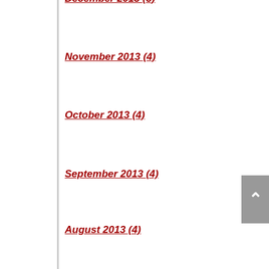December 2013 (5)
November 2013 (4)
October 2013 (4)
September 2013 (4)
August 2013 (4)
July 2013 (5)
June 2013 (2)
RECENT POSTS
How often can you declare bankruptcy in New Hampshire?
Let go of anger for a clear mind during divorce
Do you need to report your income to your...